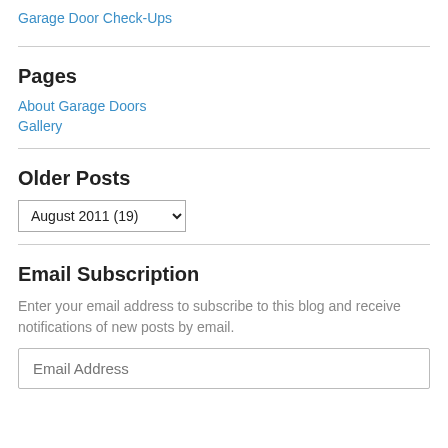Garage Door Check-Ups
Pages
About Garage Doors
Gallery
Older Posts
August 2011  (19)
Email Subscription
Enter your email address to subscribe to this blog and receive notifications of new posts by email.
Email Address